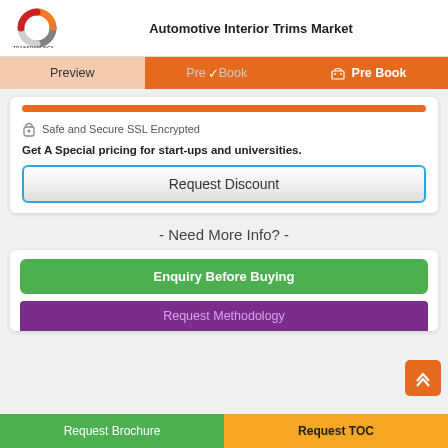[Figure (logo): Transparency Market Research logo — circular arrow graphic with red/orange/grey segments, company name below]
Automotive Interior Trims Market
Preview | Pre | Pre Book
Safe and Secure SSL Encrypted
Get A Special pricing for start-ups and universities.
Request Discount
- Need More Info? -
Enquiry Before Buying
Request Methodology
Request Brochure                    Request TOC